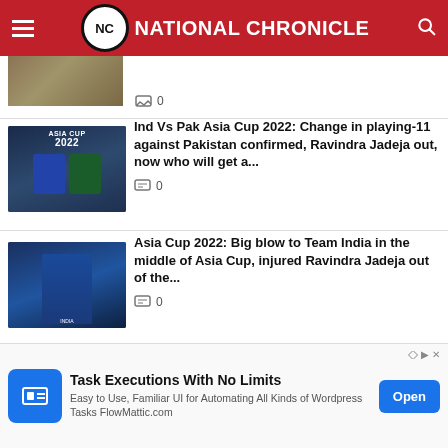[Figure (screenshot): National Chronicle website header with red background, hamburger menu, NC logo circle, site name 'NATIONAL CHRONICLE', and search icon]
[Figure (photo): Partial article thumbnail image, cropped at top]
0
[Figure (photo): Asia Cup 2022 article thumbnail showing two cricket players facing each other with 'ASIA CUP 2022' text overlay]
Ind Vs Pak Asia Cup 2022: Change in playing-11 against Pakistan confirmed, Ravindra Jadeja out, now who will get a...
0
[Figure (photo): Article thumbnail showing Ravindra Jadeja in blue India cricket team jersey with arm raised]
Asia Cup 2022: Big blow to Team India in the middle of Asia Cup, injured Ravindra Jadeja out of the...
0
[Figure (screenshot): Advertisement banner for FlowMattic - Task Executions With No Limits, with blue icon, description text, and Open button]